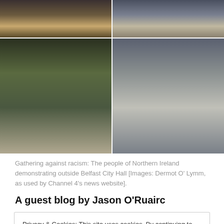[Figure (photo): Four-panel photo grid showing crowds gathering outside Belfast City Hall in protest against racism. Top-left: dense crowd of protesters. Top-right: large crowd outside ornate building. Bottom-left: crowd in front of tall city buildings. Bottom-right: several protesters holding handwritten signs.]
Gathering against racism: The people of Northern Ireland demonstrating outside Belfast City Hall [Images: Dermot O' Lymm, as used by Channel 4's news website].
A guest blog by Jason O'Ruairc
Privacy & Cookies: This site uses cookies. By continuing to use this website, you agree to their use.
To find out more, including how to control cookies, see here: Cookie Policy
Close and accept